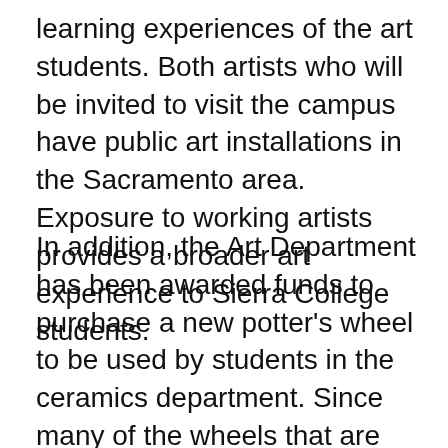learning experiences of the art students. Both artists who will be invited to visit the campus have public art installations in the Sacramento area.  Exposure to working artists provides a broader art experience to Sierra College students.
In addition, the Art Department has been awarded funds to purchase a new potter's wheel to be used by students in the ceramics department. Since many of the wheels that are currently utilized are more than 20 years old, the new wheel will provide additional experience and practice with new technology.